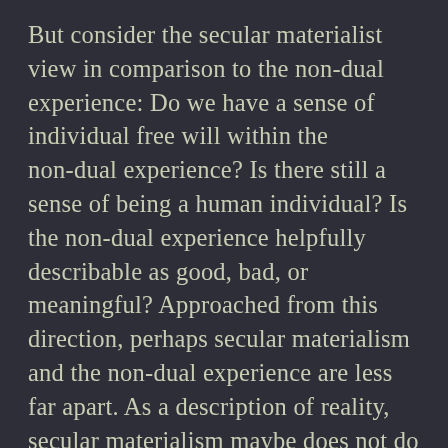But consider the secular materialist view in comparison to the non-dual experience: Do we have a sense of individual free will within the non-dual experience? Is there still a sense of being a human individual? Is the non-dual experience helpfully describable as good, bad, or meaningful? Approached from this direction, perhaps secular materialism and the non-dual experience are less far apart. As a description of reality, secular materialism maybe does not do so badly. It is perhaps an honest attempt to transcend the ego by highlighting how small and insignificant it is on a cosmic scale. But it performs this badly, because what it omits is any relationship between reality and individual consciousness. The relationship is one of